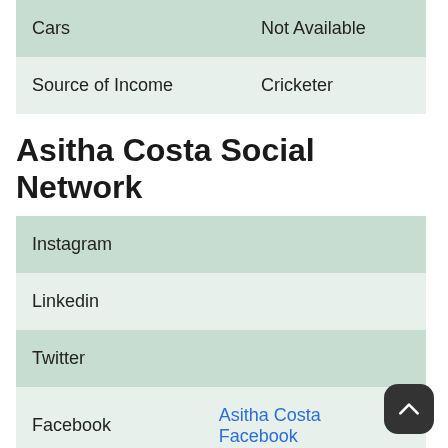| Cars | Not Available |
| Source of Income | Cricketer |
Asitha Costa Social Network
| Instagram |  |
| Linkedin |  |
| Twitter |  |
| Facebook | Asitha Costa Facebook |
| Wikipedia | Asitha Costa |